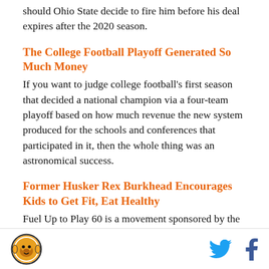should Ohio State decide to fire him before his deal expires after the 2020 season.
The College Football Playoff Generated So Much Money
If you want to judge college football's first season that decided a national champion via a four-team playoff based on how much revenue the new system produced for the schools and conferences that participated in it, then the whole thing was an astronomical success.
Former Husker Rex Burkhead Encourages Kids to Get Fit, Eat Healthy
Fuel Up to Play 60 is a movement sponsored by the